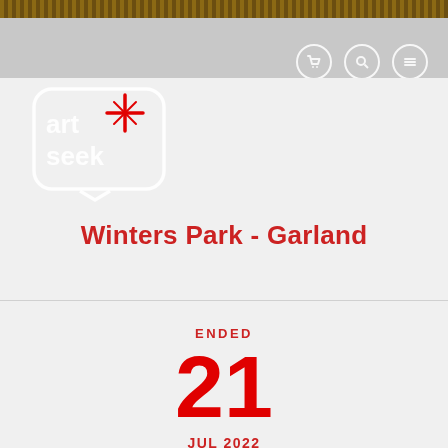[Figure (logo): Art+Seek logo: rounded square outline with stylized text 'art seek' and a red compass/cross star symbol in white]
Winters Park - Garland
ENDED
21
JUL 2022